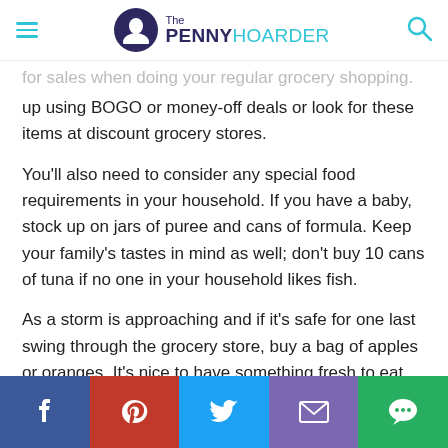The PENNY HOARDER
for sales when doing your regular grocery shopping. Stock up using BOGO or money-off deals or look for these items at discount grocery stores.
You'll also need to consider any special food requirements in your household. If you have a baby, stock up on jars of puree and cans of formula. Keep your family's tastes in mind as well; don't buy 10 cans of tuna if no one in your household likes fish.
As a storm is approaching and if it's safe for one last swing through the grocery store, buy a bag of apples or oranges. It's nice to have something fresh to eat, and those fruits tend to keep for a while.
[Figure (infographic): Social share bar with Facebook, Pinterest, Twitter, Email, and Chat buttons]